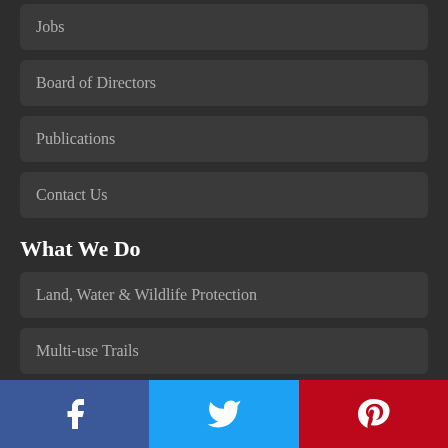Jobs
Board of Directors
Publications
Contact Us
What We Do
Land, Water & Wildlife Protection
Multi-use Trails
Land Stewardship
Conservation Policy
Facebook  Twitter  Pinterest